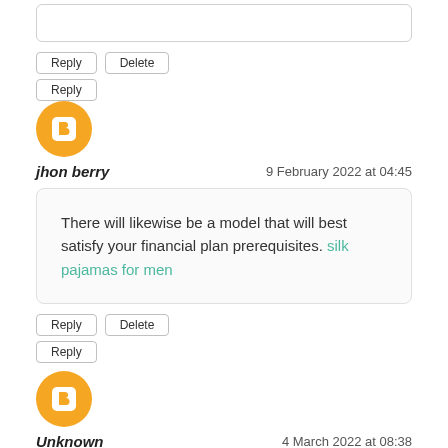[Figure (other): Empty comment input text box at top]
Reply   Delete
Reply
[Figure (logo): Blogger orange avatar icon for jhon berry]
jhon berry   9 February 2022 at 04:45
There will likewise be a model that will best satisfy your financial plan prerequisites. silk pajamas for men
Reply   Delete
Reply
[Figure (logo): Blogger orange avatar icon for Unknown]
Unknown   4 March 2022 at 08:38
[Figure (other): Empty comment input text box at bottom]